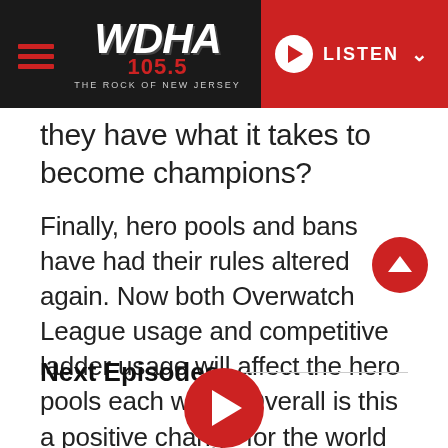[Figure (screenshot): WDHA 105.5 The Rock of New Jersey radio station website header with logo and LISTEN button]
they have what it takes to become champions?
Finally, hero pools and bans have had their rules altered again. Now both Overwatch League usage and competitive ladder usage will affect the hero pools each week. Overall is this a positive change for the world of Overwatch or does it fall in between good and bad?
Next Episodes